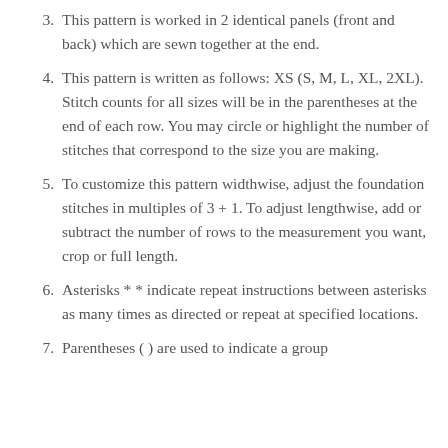3. This pattern is worked in 2 identical panels (front and back) which are sewn together at the end.
4. This pattern is written as follows: XS (S, M, L, XL, 2XL). Stitch counts for all sizes will be in the parentheses at the end of each row. You may circle or highlight the number of stitches that correspond to the size you are making.
5. To customize this pattern widthwise, adjust the foundation stitches in multiples of 3 + 1. To adjust lengthwise, add or subtract the number of rows to the measurement you want, crop or full length.
6. Asterisks * * indicate repeat instructions between asterisks as many times as directed or repeat at specified locations.
7. Parentheses ( ) are used to indicate a group